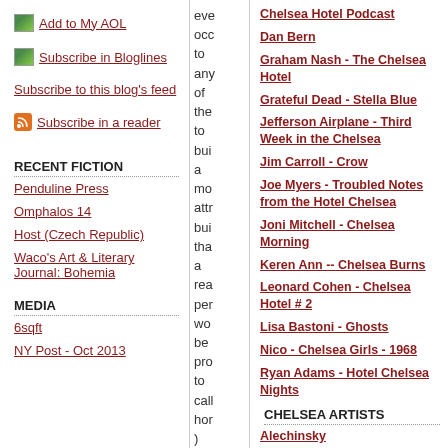Add to My AOL
Subscribe in Bloglines
Subscribe to this blog's feed
Subscribe in a reader
RECENT FICTION
Penduline Press
Omphalos 14
Host (Czech Republic)
Waco's Art & Literary Journal: Bohemia
MEDIA
6sqft
NY Post - Oct 2013
eve occ to any of the to bui a mo attr bui tha a rea per wo be pro to call hor )
Chelsea Hotel Podcast
Dan Bern
Graham Nash - The Chelsea Hotel
Grateful Dead - Stella Blue
Jefferson Airplane - Third Week in the Chelsea
Jim Carroll - Crow
Joe Myers - Troubled Notes from the Hotel Chelsea
Joni Mitchell - Chelsea Morning
Keren Ann -- Chelsea Burns
Leonard Cohen - Chelsea Hotel # 2
Lisa Bastoni - Ghosts
Nico - Chelsea Girls - 1968
Ryan Adams - Hotel Chelsea Nights
CHELSEA ARTISTS
Alechinsky
Alejandro Garmendia